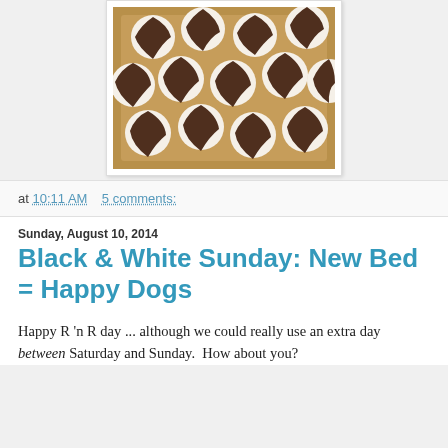[Figure (photo): Overhead view of chocolate and white cream swirl cupcakes or pastries arranged on a baking tray lined with parchment paper]
at 10:11 AM   5 comments:
Sunday, August 10, 2014
Black & White Sunday: New Bed = Happy Dogs
Happy R 'n R day ... although we could really use an extra day between Saturday and Sunday.  How about you?